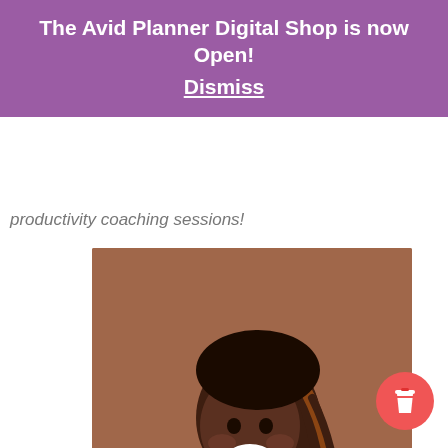The Avid Planner Digital Shop is now Open! Dismiss
productivity coaching sessions!
[Figure (photo): A smiling young Black woman with long braided hair, wearing a striped shirt, photographed from the side against a brown background.]
[Figure (infographic): Red circular button with a coffee cup icon (Buy Me a Coffee widget)]